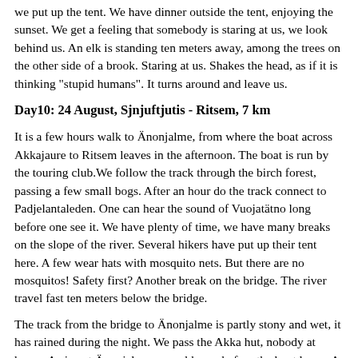we put up the tent. We have dinner outside the tent, enjoying the sunset. We get a feeling that somebody is staring at us, we look behind us. An elk is standing ten meters away, among the trees on the other side of a brook. Staring at us. Shakes the head, as if it is thinking "stupid humans". It turns around and leave us.
Day10: 24 August, Sjnjuftjutis - Ritsem, 7 km
It is a few hours walk to Änonjalme, from where the boat across Akkajaure to Ritsem leaves in the afternoon. The boat is run by the touring club.We follow the track through the birch forest, passing a few small bogs. After an hour do the track connect to Padjelantaleden. One can hear the sound of Vuojatätno long before one see it. We have plenty of time, we have many breaks on the slope of the river. Several hikers have put up their tent here. A few wear hats with mosquito nets. But there are no mosquitos! Safety first? Another break on the bridge. The river travel fast ten meters below the bridge.
The track from the bridge to Änonjalme is partly stony and wet, it has rained during the night. We pass the Akka hut, nobody at home. Arrive at Änonjalme several hours before the boat leave. A dog welcomes us. Änonjalme is during the summer inhabited by the lapps. On the hillside is a small cafe, which is closed today. We spend the time eating our remaining raisins. The stomach gets upset, we rush to the outdoor toilett. Akkajaure is a reservoir for a